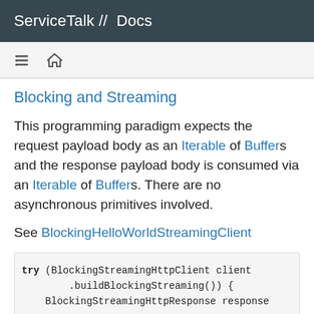ServiceTalk // Docs
Blocking and Streaming
This programming paradigm expects the request payload body as an Iterable of Buffers and the response payload body is consumed via an Iterable of Buffers. There are no asynchronous primitives involved.
See BlockingHelloWorldStreamingClient
try (BlockingStreamingHttpClient client
        .buildBlockingStreaming()) {
    BlockingStreamingHttpResponse response